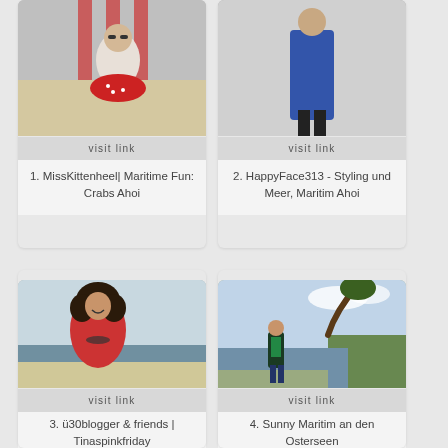[Figure (photo): Woman sitting in a striped beach chair wearing a red polka dot skirt]
visit link
1. MissKittenheel| Maritime Fun: Crabs Ahoi
[Figure (photo): Woman in blue dress standing, black and white or muted tones]
visit link
2. HappyFace313 - Styling und Meer, Maritim Ahoi
[Figure (photo): Woman with curly hair laughing on a beach wearing a red jacket]
visit link
3. ü30blogger & friends | Tinaspinkfriday
[Figure (photo): Person standing by a lake with a leaning tree and cloudy sky]
visit link
4. Sunny Maritim an den Osterseen